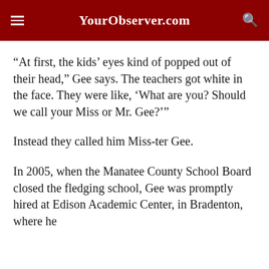YourObserver.com
“At first, the kids’ eyes kind of popped out of their head,” Gee says. The teachers got white in the face. They were like, ‘What are you? Should we call your Miss or Mr. Gee?’”
Instead they called him Miss-ter Gee.
In 2005, when the Manatee County School Board closed the fledging school, Gee was promptly hired at Edison Academic Center, in Bradenton, where he